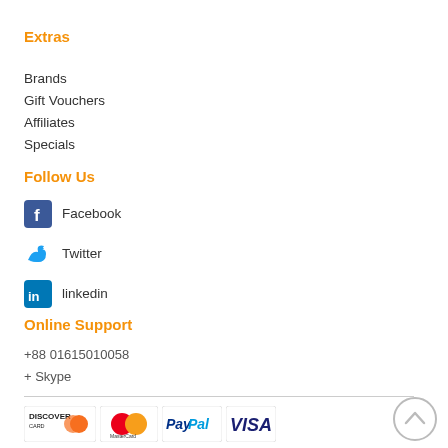Extras
Brands
Gift Vouchers
Affiliates
Specials
Follow Us
Facebook
Twitter
linkedin
Online Support
+88 01615010058
+ Skype
[Figure (logo): Payment method logos: Discover Card, MasterCard, PayPal, VISA, Western Union (partial)]
[Figure (other): Back to top circular arrow button]